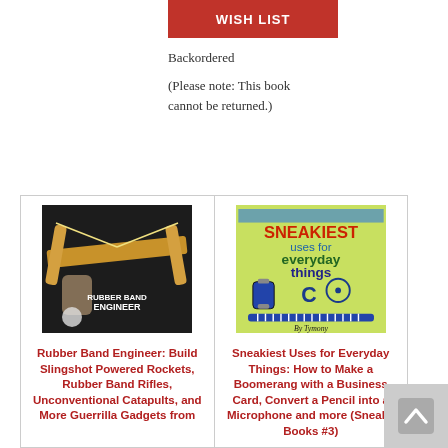WISH LIST
Backordered
(Please note: This book cannot be returned.)
[Figure (photo): Book cover: Rubber Band Engineer, showing a crossbow-style slingshot on dark chalkboard background]
Rubber Band Engineer: Build Slingshot Powered Rockets, Rubber Band Rifles, Unconventional Catapults, and More Guerrilla Gadgets from
[Figure (photo): Book cover: Sneakiest Uses for Everyday Things, green background with title text and everyday objects (watch, comb, compass)]
Sneakiest Uses for Everyday Things: How to Make a Boomerang with a Business Card, Convert a Pencil into a Microphone and more (Sneaky Books #3)